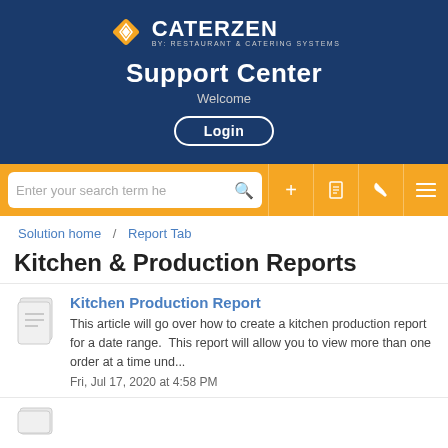[Figure (logo): CaterZen logo with diamond icon and text 'By: Restaurant & Catering Systems']
Support Center
Welcome
Login
Enter your search term he
Solution home / Report Tab
Kitchen & Production Reports
Kitchen Production Report
This article will go over how to create a kitchen production report for a date range.   This report will allow you to view more than one order at a time und...
Fri, Jul 17, 2020 at 4:58 PM